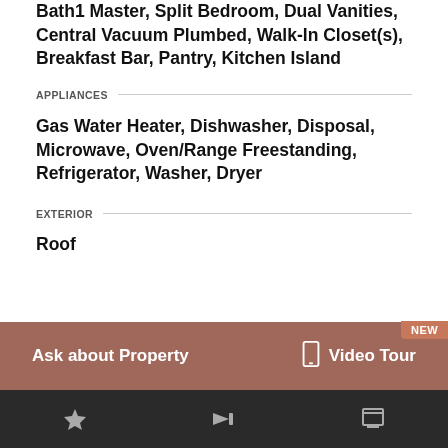Bath1 Master, Split Bedroom, Dual Vanities, Central Vacuum Plumbed, Walk-In Closet(s), Breakfast Bar, Pantry, Kitchen Island
APPLIANCES
Gas Water Heater, Dishwasher, Disposal, Microwave, Oven/Range Freestanding, Refrigerator, Washer, Dryer
EXTERIOR
Roof
Ask about Property | Video Tour | NEW